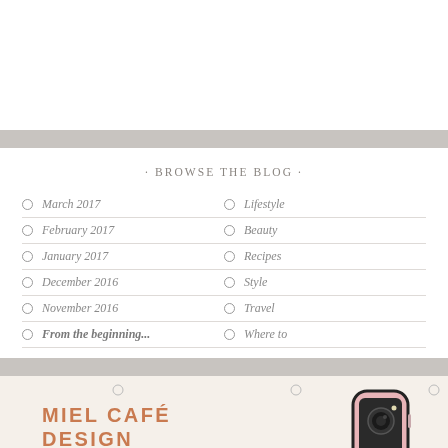· BROWSE THE BLOG ·
March 2017
February 2017
January 2017
December 2016
November 2016
From the beginning...
Lifestyle
Beauty
Recipes
Style
Travel
Where to
MIEL CAFÉ DESIGN
[Figure (photo): Pink smartphone case photo]